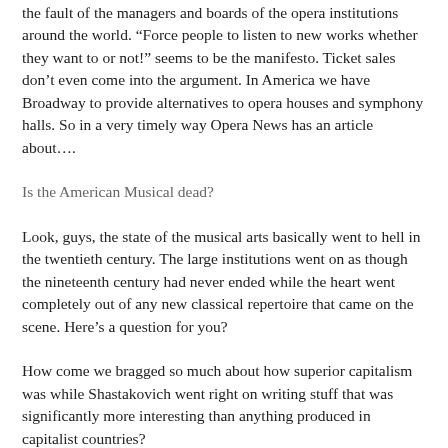the fault of the managers and boards of the opera institutions around the world. “Force people to listen to new works whether they want to or not!” seems to be the manifesto. Ticket sales don’t even come into the argument. In America we have Broadway to provide alternatives to opera houses and symphony halls. So in a very timely way Opera News has an article about….
Is the American Musical dead?
Look, guys, the state of the musical arts basically went to hell in the twentieth century. The large institutions went on as though the nineteenth century had never ended while the heart went completely out of any new classical repertoire that came on the scene. Here’s a question for you?
How come we bragged so much about how superior capitalism was while Shastakovich went right on writing stuff that was significantly more interesting than anything produced in capitalist countries?
Because, you see, it all has to do with money. Ipod is saying